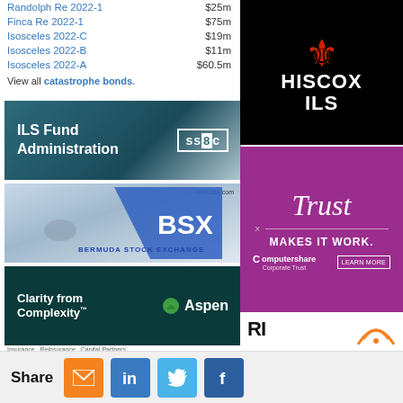Randolph Re 2022-1  $25m
Finca Re 2022-1  $75m
Isosceles 2022-C  $19m
Isosceles 2022-B  $11m
Isosceles 2022-A  $60.5m
View all catastrophe bonds.
[Figure (logo): SS&C ILS Fund Administration advertisement - teal/dark background with SS&C logo and text ILS Fund Administration]
[Figure (logo): BSX Bermuda Stock Exchange advertisement with bull logo and blue diagonal stripe, www.bsx.com]
[Figure (logo): Aspen Insurance advertisement - dark teal background, Clarity from Complexity, Aspen logo with leaf icon]
[Figure (logo): Hiscox ILS advertisement - black background with red fleur-de-lis and white HISCOX ILS text]
[Figure (logo): Computershare Corporate Trust advertisement - purple/magenta background with Trust script text, MAKES IT WORK., Computershare logo and LEARN MORE button]
[Figure (logo): Bottom logos area - partial BI logo and orange wifi/broadcast icon]
Share